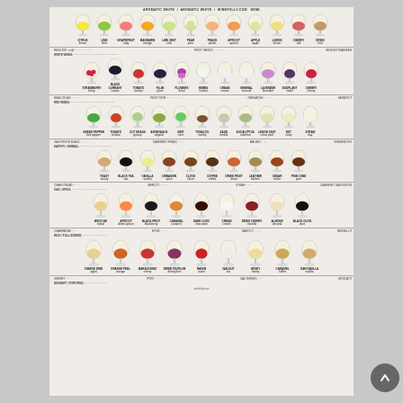AROMATIC WHITE / AROMATIC WHITE / WINEFOLLY.COM WINE
[Figure (infographic): Wine folly infographic poster showing multiple rows of wine glasses, each filled with different ingredients/aromatics representing different wine styles. Row 1: Aromatic Whites - 13 glasses with fruits like lemon, lime, grapefruit, orange, lime zest, pear, peach, apricot, apple, lemon, cherry. Row 2: Various aromatics including berries, herbs, flowers, vegetables. Row 3: Savory/herbal aromatics with greens and vegetables. Row 4: Spices and earthy aromatics. Row 5: Rich/oaked wine styles. Row 6: Dessert and fortified wine styles. Each glass is labeled with wine type name and descriptors.]
Wine aromatics and styles guide showing what ingredients each wine smells and tastes like, organized by category from light aromatic whites to rich dessert wines.